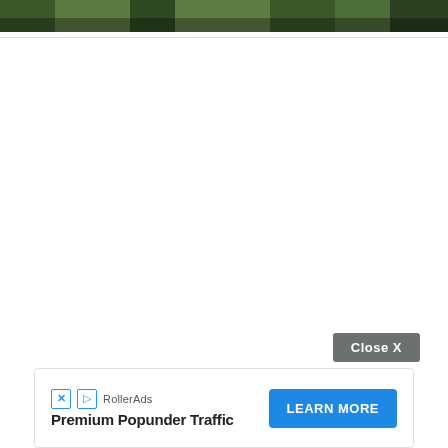[Figure (photo): Partial top strip of a nature photo showing dark green foliage/trees]
[Figure (other): Close X button overlay in dark gray on the white content area]
[Figure (other): RollerAds advertisement banner: 'Premium Popunder Traffic' with LEARN MORE button in blue, and RollerAds logo icons]